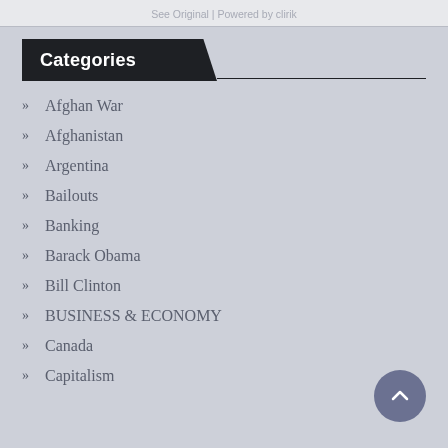See Original | Powered by clirik
Categories
Afghan War
Afghanistan
Argentina
Bailouts
Banking
Barack Obama
Bill Clinton
BUSINESS & ECONOMY
Canada
Capitalism